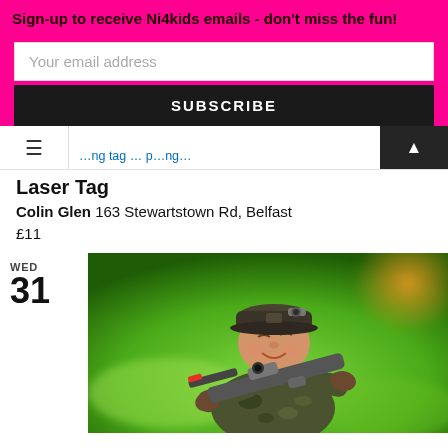Sign-up to receive Ni4kids emails - don't miss the fun!
Your email address
SUBSCRIBE
Laser Tag
Colin Glen 163 Stewartstown Rd, Belfast
£11
WED
31
[Figure (photo): A young child in camouflage clothing and cap, aiming a toy gun, outdoors with green background]